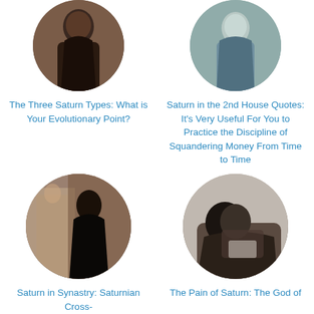[Figure (photo): Circular cropped photo of a person, dark tones, top-left card]
[Figure (photo): Circular cropped photo of a person in light blue/teal tones, top-right card]
The Three Saturn Types: What is Your Evolutionary Point?
Saturn in the 2nd House Quotes: It’s Very Useful For You to Practice the Discipline of Squandering Money From Time to Time
[Figure (photo): Circular cropped photo showing a silhouette of a person at a door, dark tones, bottom-left card]
[Figure (photo): Circular cropped black and white photo of a woman reclining reading a book, bottom-right card]
Saturn in Synastry: Saturnian Cross-
The Pain of Saturn: The God of